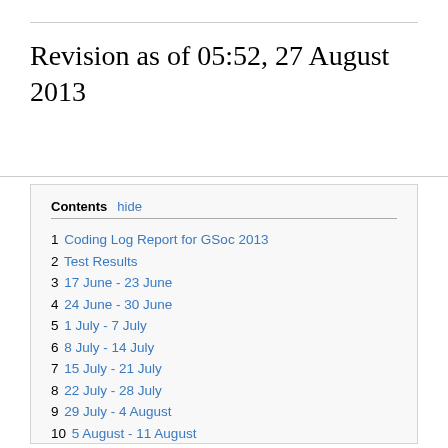Revision as of 05:52, 27 August 2013
1 Coding Log Report for GSoc 2013
2 Test Results
3 17 June - 23 June
4 24 June - 30 June
5 1 July - 7 July
6 8 July - 14 July
7 15 July - 21 July
8 22 July - 28 July
9 29 July - 4 August
10 5 August - 11 August
11 12 August - 18 August